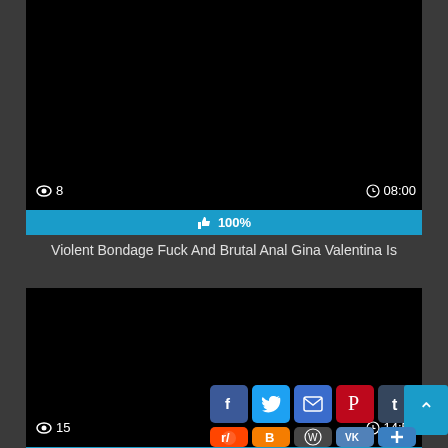[Figure (screenshot): Black video thumbnail placeholder, first video card]
👁 8
⏱08:00
👍 100%
Violent Bondage Fuck And Brutal Anal Gina Valentina Is
[Figure (screenshot): Black video thumbnail placeholder, second video card with social share buttons]
👁 15
⏱14:59
100%